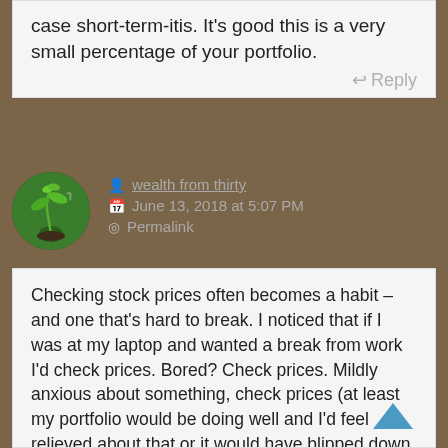case short-term-itis. It's good this is a very small percentage of your portfolio.
Reply
wealth from thirty
June 13, 2018 at 5:07 PM
Permalink
Checking stock prices often becomes a habit – and one that's hard to break. I noticed that if I was at my laptop and wanted a break from work I'd check prices. Bored? Check prices. Mildly anxious about something, check prices (at least my portfolio would be doing well and I'd feel relieved about that or it would have blipped down and I'd have something new to worry abt!). Eventually I noticed my fingers dance automatically accross my